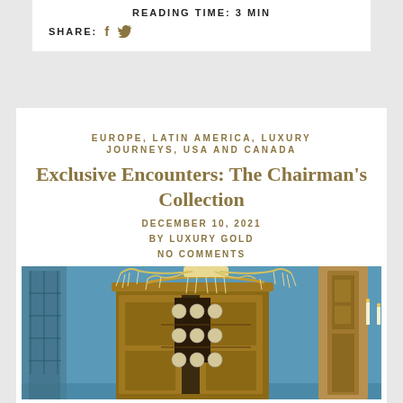READING TIME: 3 MIN
SHARE: f (facebook) twitter
EUROPE, LATIN AMERICA, LUXURY
JOURNEYS, USA AND CANADA
Exclusive Encounters: The Chairman's Collection
DECEMBER 10, 2021
BY LUXURY GOLD
NO COMMENTS
[Figure (photo): Interior photo showing an ornate wooden cabinet with china plates displayed inside, crystal chandelier above, blue walls, and a carved wooden door frame on the right side with candles]